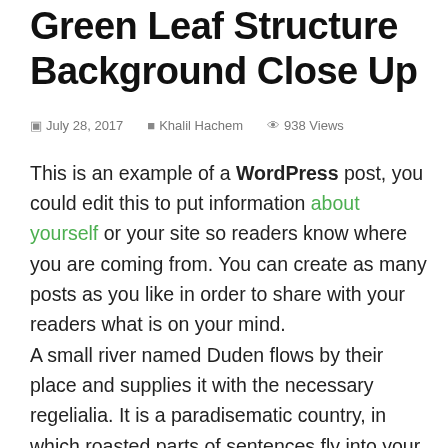Green Leaf Structure Background Close Up
July 28, 2017   Khalil Hachem   938 Views
This is an example of a WordPress post, you could edit this to put information about yourself or your site so readers know where you are coming from. You can create as many posts as you like in order to share with your readers what is on your mind.
A small river named Duden flows by their place and supplies it with the necessary regelialia. It is a paradisematic country, in which roasted parts of sentences fly into your mouth. Even the all-powerful Pointing has no control about the blind texts it is an almost unorthographic life One day however a small line of blind text by the name of Lorem Ipsum…